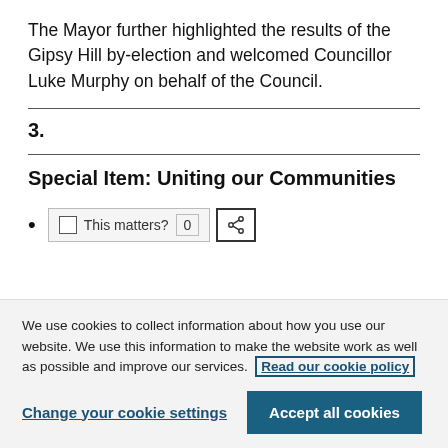The Mayor further highlighted the results of the Gipsy Hill by-election and welcomed Councillor Luke Murphy on behalf of the Council.
3.
Special Item: Uniting our Communities
This matters? 0
We use cookies to collect information about how you use our website. We use this information to make the website work as well as possible and improve our services. Read our cookie policy
Change your cookie settings | Accept all cookies